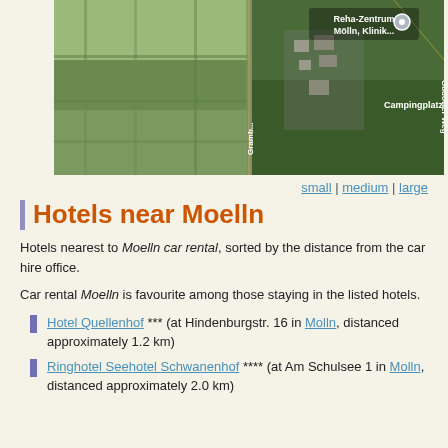[Figure (map): Aerial/satellite Google Maps view showing Reha-Zentrum Mölln, Klinik location with pin marker, Campingplatz Lütt label, Gramb road label vertical, and Gudower Weg road label vertical. Green agricultural fields on left, forested area on right.]
small | medium | large
Hotels near Moelln
Hotels nearest to Moelln car rental, sorted by the distance from the car hire office.
Car rental Moelln is favourite among those staying in the listed hotels.
Hotel Quellenhof *** (at Hindenburgstr. 16 in Molln, distanced approximately 1.2 km)
Ringhotel Seehotel Schwanenhof **** (at Am Schulsee 1 in Molln, distanced approximately 2.0 km)